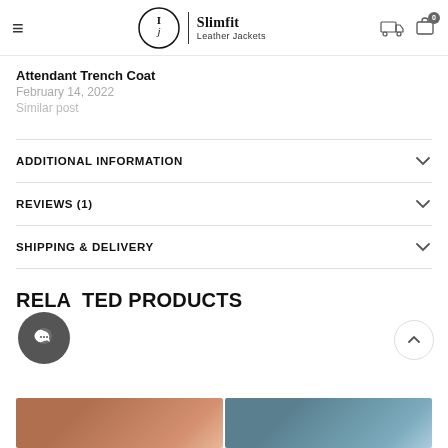Slimfit Leather Jackets
Attendant Trench Coat
February 14, 2022
Similar post
ADDITIONAL INFORMATION
REVIEWS (1)
SHIPPING & DELIVERY
RELATED PRODUCTS
[Figure (photo): Product thumbnail images at bottom of page]